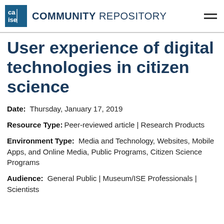COMMUNITY REPOSITORY
User experience of digital technologies in citizen science
Date: Thursday, January 17, 2019
Resource Type: Peer-reviewed article | Research Products
Environment Type: Media and Technology, Websites, Mobile Apps, and Online Media, Public Programs, Citizen Science Programs
Audience: General Public | Museum/ISE Professionals | Scientists